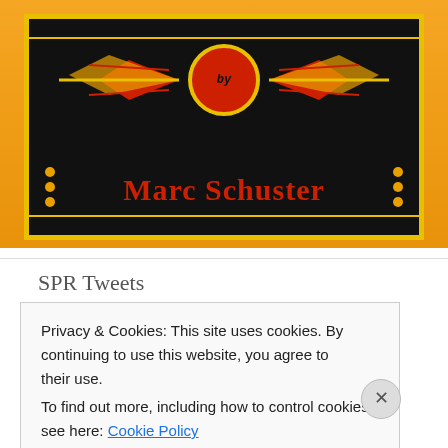[Figure (illustration): Book cover illustration with orange background, black inner rectangle with gold border, red lightning bolt wings, central red circle with 'by' text, and red author name 'Marc Schuster' in Gothic serif font on black background]
SPR Tweets
RT @tracilaw: Look what I found on one of mybookcases, @marc_schuster https://t.co/ZunbyfZx8s 1 day ago
RT @theBrianJim: //NowPlaying some serious //ColdWar era vibes from
Privacy & Cookies: This site uses cookies. By continuing to use this website, you agree to their use.
To find out more, including how to control cookies, see here: Cookie Policy
Close and accept